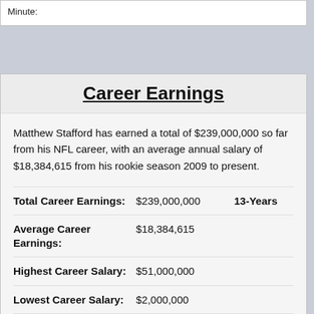Minute:
Career Earnings
Matthew Stafford has earned a total of $239,000,000 so far from his NFL career, with an average annual salary of $18,384,615 from his rookie season 2009 to present.
| Label | Value | Extra |
| --- | --- | --- |
| Total Career Earnings: | $239,000,000 | 13-Years |
| Average Career Earnings: | $18,384,615 |  |
| Highest Career Salary: | $51,000,000 |  |
| Lowest Career Salary: | $2,000,000 |  |